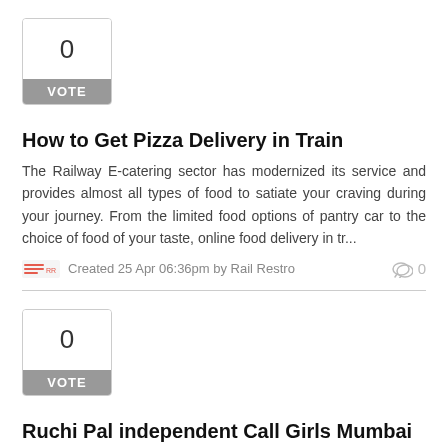[Figure (other): Vote box showing 0 with VOTE button label]
How to Get Pizza Delivery in Train
The Railway E-catering sector has modernized its service and provides almost all types of food to satiate your craving during your journey. From the limited food options of pantry car to the choice of food of your taste, online food delivery in tr...
Created 25 Apr 06:36pm by Rail Restro   0
[Figure (other): Vote box showing 0 with VOTE button label]
Ruchi Pal independent Call Girls Mumbai
Some of you may enjoy the joy of accompanying the escorts in Mumbai, which may be close to the positive, and there is no doubt that it can bring you an unprecedented kind of ecstasy. It's been a